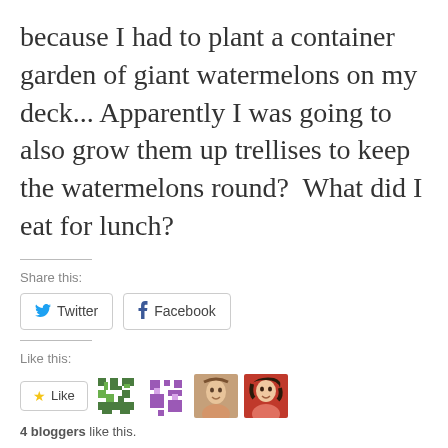because I had to plant a container garden of giant watermelons on my deck... Apparently I was going to also grow them up trellises to keep the watermelons round?  What did I eat for lunch?
Share this:
[Figure (other): Twitter and Facebook share buttons]
Like this:
[Figure (other): Like button and 4 blogger avatar thumbnails]
4 bloggers like this.
UNCATEGORIZED